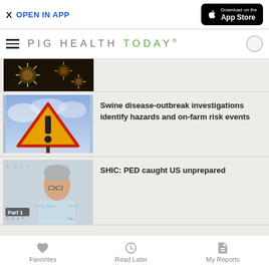X  OPEN IN APP
PIG HEALTH TODAY®
[Figure (photo): Partial view of virus/coronavirus particles with gears, dark background]
[Figure (photo): Warning triangle sign with exclamation mark against a cloudy sky]
Swine disease-outbreak investigations identify hazards and on-farm risk events
[Figure (photo): Video thumbnail showing a man in a light blue shirt with Pig Health Today branding and 'Part 1' label]
SHIC: PED caught US unprepared
Favorites  Read Later  My Reports